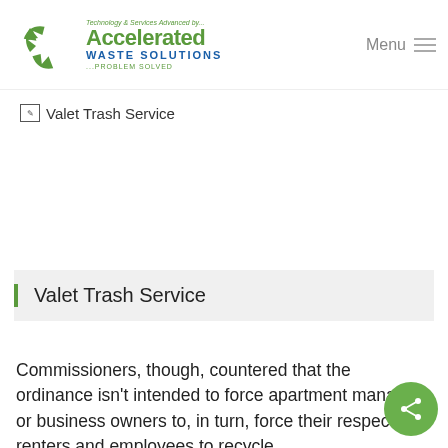Accelerated Waste Solutions — Technology & Services Advanced by... PROBLEM SOLVED
[Figure (logo): Accelerated Waste Solutions (AWS) logo with green recycling icon and text 'Technology & Services Advanced by... Accelerated Waste Solutions PROBLEM SOLVED']
[Figure (photo): Broken image placeholder for 'Valet Trash Service']
Valet Trash Service
Commissioners, though, countered that the ordinance isn't intended to force apartment managers or business owners to, in turn, force their respective renters and employees to recycle.